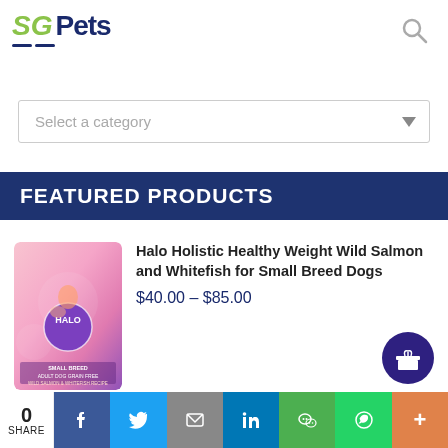[Figure (logo): SG Pets logo — stylized 'SG' in green with pets text in dark navy blue, includes animal icons]
Select a category
FEATURED PRODUCTS
[Figure (photo): Halo brand dog food product bag — pink packaging with illustration, Halo logo circle badge, for small breed adult dogs, grain free, wild salmon & whitefish recipe]
Halo Holistic Healthy Weight Wild Salmon and Whitefish for Small Breed Dogs
$40.00 – $85.00
0
SHARE